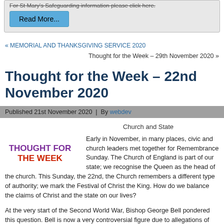For St Mary's Safeguarding information please click here.
Read More...
« MEMORIAL AND THANKSGIVING SERVICE 2020
Thought for the Week – 29th November 2020 »
Thought for the Week – 22nd November 2020
Published 21st November 2020 | By webdev
Church and State
[Figure (illustration): THOUGHT FOR THE WEEK text logo in purple and red]
Early in November, in many places, civic and church leaders met together for Remembrance Sunday. The Church of England is part of our state; we recognise the Queen as the head of the church. This Sunday, the 22nd, the Church remembers a different type of authority; we mark the Festival of Christ the King. How do we balance the claims of Christ and the state on our lives?
At the very start of the Second World War, Bishop George Bell pondered this question. Bell is now a very controversial figure due to allegations of child abuse. But regardless of these, his words still challenge me on what the church is for and how it sits alongside the state.
“The State has a function, and the Church has a function. They are distinct. The State is the guarantor of order, justice and civil liberty. It acts by the power